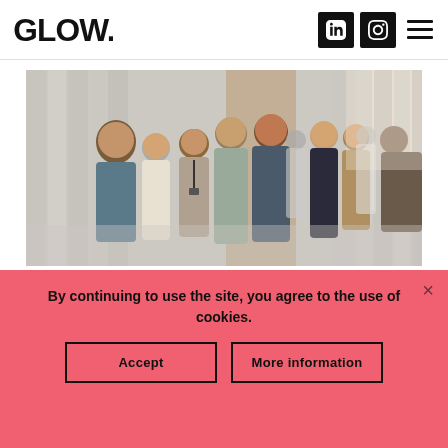GLOW. [logo] [LinkedIn icon] [Instagram icon] [hamburger menu]
[Figure (photo): Group of business professionals networking and conversing at an event in a well-lit venue with white curtains and warm-toned walls.]
By continuing to use the site, you agree to the use of cookies.
Accept | More information